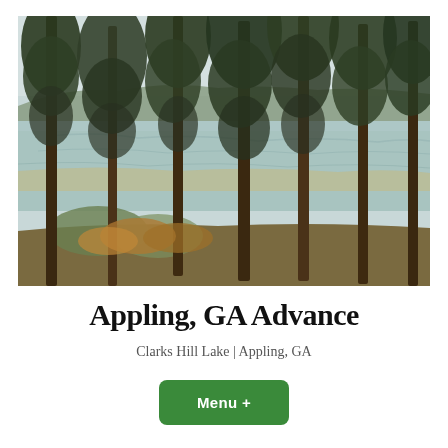[Figure (photo): Outdoor lakeside scene with tall pine trees in the foreground and Clarks Hill Lake visible in the background. The photo shows a winter or early spring landscape with bare and semi-bare trees, brown grass on the ground, and calm blue-gray water of the lake reflecting the sky.]
Appling, GA Advance
Clarks Hill Lake | Appling, GA
Menu +